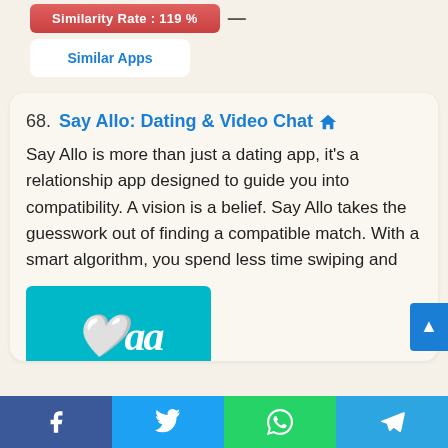Similarity Rate : 119 %
Similar Apps
68. Say Allo: Dating & Video Chat
Say Allo is more than just a dating app, it's a relationship app designed to guide you into compatibility. A vision is a belief. Say Allo takes the guesswork out of finding a compatible match. With a smart algorithm, you spend less time swiping and
[Figure (screenshot): Teal/cyan app banner showing the Say Allo logo text in white cursive on a teal background]
[Figure (other): Social sharing bar at bottom with Facebook, Twitter, WhatsApp, and Telegram icons]